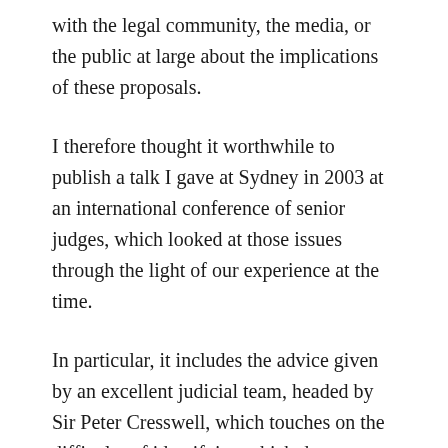with the legal community, the media, or the public at large about the implications of these proposals.
I therefore thought it worthwhile to publish a talk I gave at Sydney in 2003 at an international conference of senior judges, which looked at those issues through the light of our experience at the time.
In particular, it includes the advice given by an excellent judicial team, headed by Sir Peter Cresswell, which touches on the difficulty of identifying which documents ought to be in the public domain, and which should not be.
I don't know how much thought needs to be given to